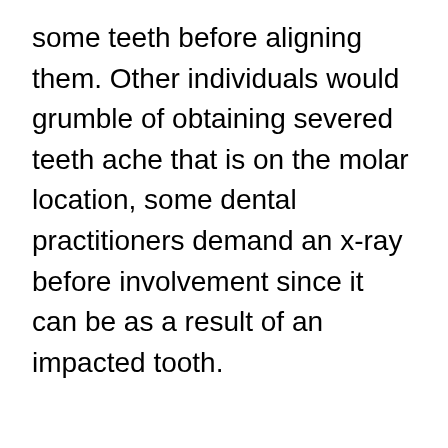some teeth before aligning them. Other individuals would grumble of obtaining severed teeth ache that is on the molar location, some dental practitioners demand an x-ray before involvement since it can be as a result of an impacted tooth.